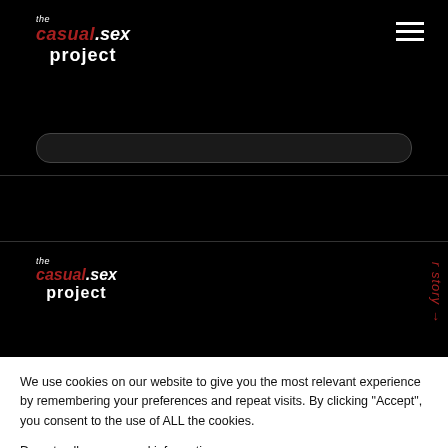[Figure (logo): The Casual Sex Project logo in top navigation bar on black background]
[Figure (logo): The Casual Sex Project logo in footer section on black background]
We use cookies on our website to give you the most relevant experience by remembering your preferences and repeat visits. By clicking “Accept”, you consent to the use of ALL the cookies.
Do not sell my personal information.
Cookie Settings
Accept